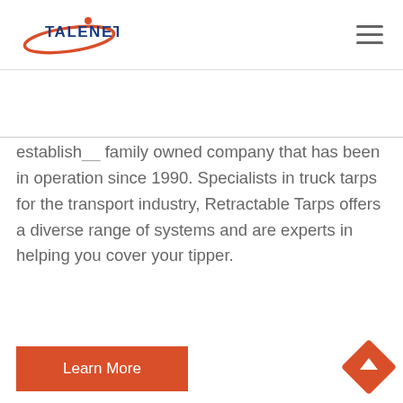[Figure (logo): TALENET company logo with red swoosh and blue text]
established family owned company that has been in operation since 1990. Specialists in truck tarps for the transport industry, Retractable Tarps offers a diverse range of systems and are experts in helping you cover your tipper.
[Figure (photo): Learn More button — orange/red rectangular button with white text]
[Figure (photo): Photograph of a large dark-colored dump truck with a tarp cover system, parked with other trucks and trees visible in the background]